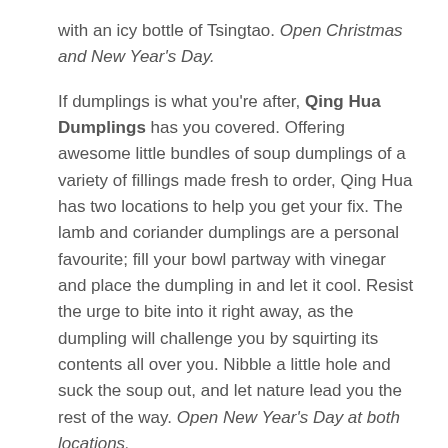with an icy bottle of Tsingtao. Open Christmas and New Year's Day.
If dumplings is what you're after, Qing Hua Dumplings has you covered. Offering awesome little bundles of soup dumplings of a variety of fillings made fresh to order, Qing Hua has two locations to help you get your fix. The lamb and coriander dumplings are a personal favourite; fill your bowl partway with vinegar and place the dumpling in and let it cool. Resist the urge to bite into it right away, as the dumpling will challenge you by squirting its contents all over you. Nibble a little hole and suck the soup out, and let nature lead you the rest of the way. Open New Year's Day at both locations.